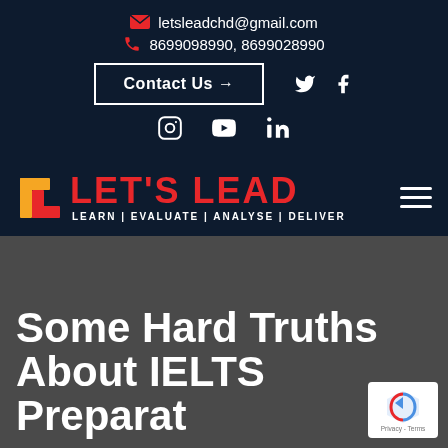letsleadchd@gmail.com
8699098990, 8699028990
Contact Us →
[Figure (logo): Let's Lead logo with orange bracket icon and red text LET'S LEAD, tagline LEARN | EVALUATE | ANALYSE | DELIVER]
Some Hard Truths About IELTS Preparat…